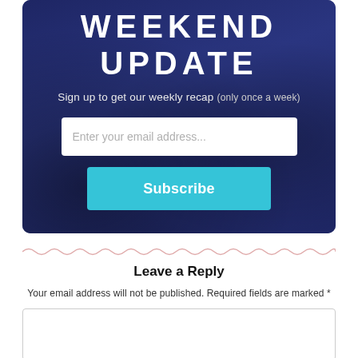WEEKEND UPDATE
Sign up to get our weekly recap (only once a week)
Enter your email address...
Subscribe
Leave a Reply
Your email address will not be published. Required fields are marked *